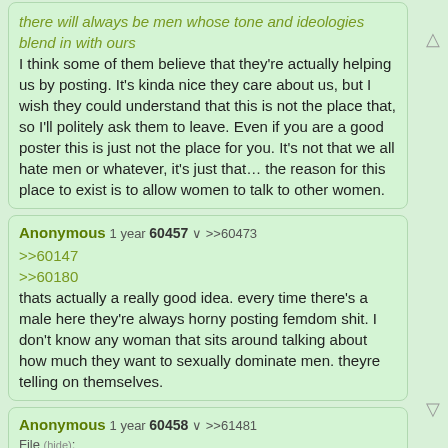there will always be men whose tone and ideologies blend in with ours
I think some of them believe that they're actually helping us by posting. It's kinda nice they care about us, but I wish they could understand that this is not the place that, so I'll politely ask them to leave. Even if you are a good poster this is just not the place for you. It's not that we all hate men or whatever, it's just that… the reason for this place to exist is to allow women to talk to other women.
Anonymous 1 year 60457 >>60473
>>60147
>>60180
thats actually a really good idea. every time there's a male here they're always horny posting femdom shit. I don't know any woman that sits around talking about how much they want to sexually dominate men. theyre telling on themselves.
Anonymous 1 year 60458 >>61481
File (hide):
>>60346
and I love that somebody bothered to even do that, even if it isn't foolproof. I grew up using places like 4chan for years before I couldn't take it anymore. I would get talked over by men that were there for LESS time than I was. I really